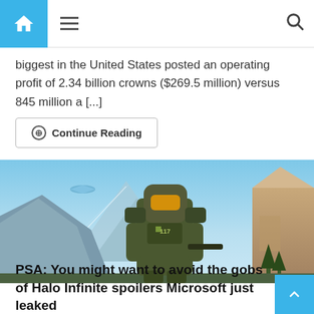Navigation bar with home icon, hamburger menu, and search icon
biggest in the United States posted an operating profit of 2.34 billion crowns ($269.5 million) versus 845 million a [...]
Continue Reading
[Figure (screenshot): Halo Infinite game artwork showing Master Chief in armor against a scenic mountain and sky background]
PSA: You might want to avoid the gobs of Halo Infinite spoilers Microsoft just leaked